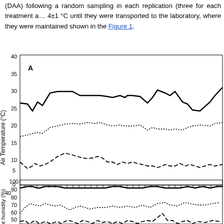(DAA) following a random sampling in each replication (three for each treatment a… 4±1 °C until they were transported to the laboratory, where they were maintained … shown in the Figure 1.
[Figure (continuous-plot): Panel A: Air Temperature (°C) over time showing three lines — solid (max ~28-33°C), dotted (min ~15-19°C), and dashed (min ~5-10°C). Y-axis 0-40, with tick marks on x-axis representing days after application.]
[Figure (continuous-plot): Panel B (partial): Relative humidity (%) over time showing three lines — solid (~88-95%), dotted (~60-75%), and dashed (~20-45%). Y-axis starts at 40, with 50,60,70,80,90,100 visible labels.]